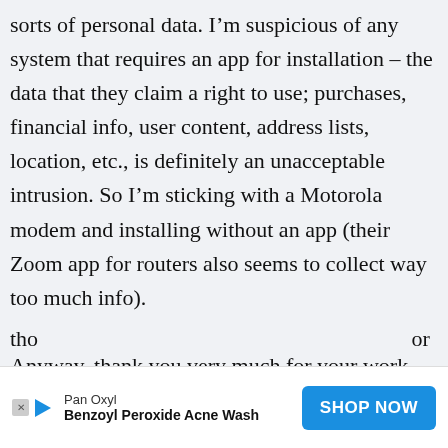sorts of personal data. I’m suspicious of any system that requires an app for installation – the data that they claim a right to use; purchases, financial info, user content, address lists, location, etc., is definitely an unacceptable intrusion. So I’m sticking with a Motorola modem and installing without an app (their Zoom app for routers also seems to collect way too much info).

Anyway, thank you very much for your work – I’ll send others links to your site (I’m one of tho... ...for hel...
[Figure (other): Advertisement banner for Pan Oxyl Benzoyl Peroxide Acne Wash with a 'SHOP NOW' blue button and ad icon markers (X and play button)]